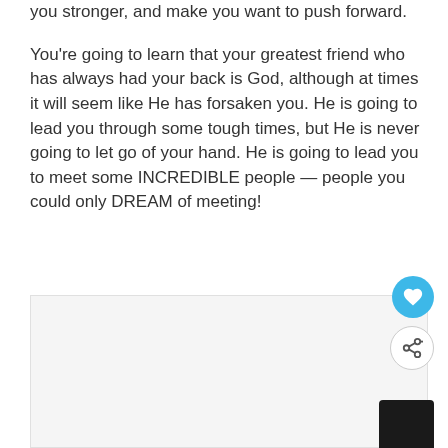you stronger, and make you want to push forward.

You're going to learn that your greatest friend who has always had your back is God, although at times it will seem like He has forsaken you. He is going to lead you through some tough times, but He is never going to let go of your hand. He is going to lead you to meet some INCREDIBLE people — people you could only DREAM of meeting!
[Figure (other): Light gray content placeholder area with a heart button (blue circle), a share button (white circle), and a dark envelope/mail icon at the bottom right.]